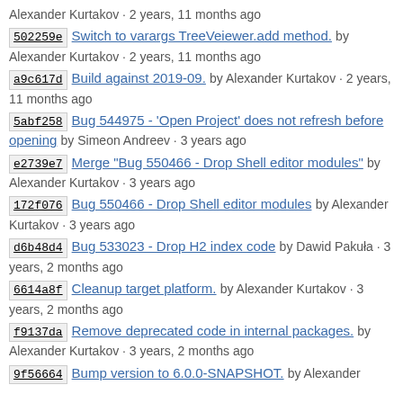Alexander Kurtakov · 2 years, 11 months ago
502259e Switch to varargs TreeVeiewer.add method. by Alexander Kurtakov · 2 years, 11 months ago
a9c617d Build against 2019-09. by Alexander Kurtakov · 2 years, 11 months ago
5abf258 Bug 544975 - 'Open Project' does not refresh before opening by Simeon Andreev · 3 years ago
e2739e7 Merge "Bug 550466 - Drop Shell editor modules" by Alexander Kurtakov · 3 years ago
172f076 Bug 550466 - Drop Shell editor modules by Alexander Kurtakov · 3 years ago
d6b48d4 Bug 533023 - Drop H2 index code by Dawid Pakuła · 3 years, 2 months ago
6614a8f Cleanup target platform. by Alexander Kurtakov · 3 years, 2 months ago
f9137da Remove deprecated code in internal packages. by Alexander Kurtakov · 3 years, 2 months ago
9f56664 Bump version to 6.0.0-SNAPSHOT. by Alexander